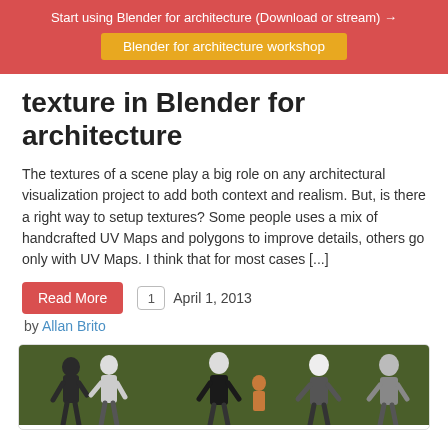Start using Blender for architecture (Download or stream) →
Blender for architecture workshop
texture in Blender for architecture
The textures of a scene play a big role on any architectural visualization project to add both context and realism. But, is there a right way to setup textures? Some people uses a mix of handcrafted UV Maps and polygons to improve details, others go only with UV Maps. I think that for most cases [...]
Read More   1   April 1, 2013
by Allan Brito
[Figure (photo): Group of people standing and talking in front of a dark green wall; appears to be a workshop or event setting.]